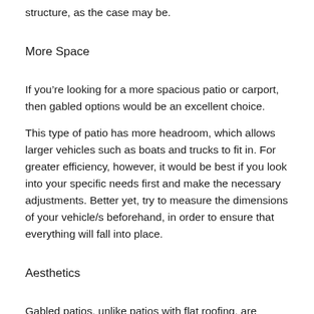structure, as the case may be.
More Space
If you’re looking for a more spacious patio or carport, then gabled options would be an excellent choice.
This type of patio has more headroom, which allows larger vehicles such as boats and trucks to fit in. For greater efficiency, however, it would be best if you look into your specific needs first and make the necessary adjustments. Better yet, try to measure the dimensions of your vehicle/s beforehand, in order to ensure that everything will fall into place.
Aesthetics
Gabled patios, unlike patios with flat roofing, are definitely more attractive. This patio type is a lot easier